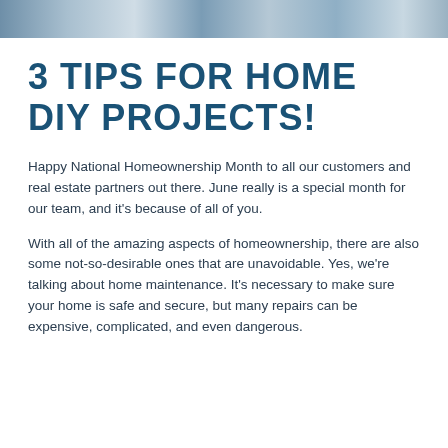[Figure (photo): A horizontal photo strip showing people related to home ownership or DIY projects, partially visible at the top of the page.]
3 TIPS FOR HOME DIY PROJECTS!
Happy National Homeownership Month to all our customers and real estate partners out there. June really is a special month for our team, and it's because of all of you.
With all of the amazing aspects of homeownership, there are also some not-so-desirable ones that are unavoidable. Yes, we're talking about home maintenance. It's necessary to make sure your home is safe and secure, but many repairs can be expensive, complicated, and even dangerous.